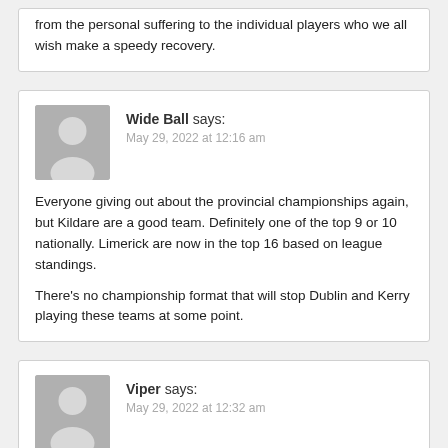from the personal suffering to the individual players who we all wish make a speedy recovery.
Wide Ball says:
May 29, 2022 at 12:16 am

Everyone giving out about the provincial championships again, but Kildare are a good team. Definitely one of the top 9 or 10 nationally. Limerick are now in the top 16 based on league standings.

There's no championship format that will stop Dublin and Kerry playing these teams at some point.
Viper says:
May 29, 2022 at 12:32 am